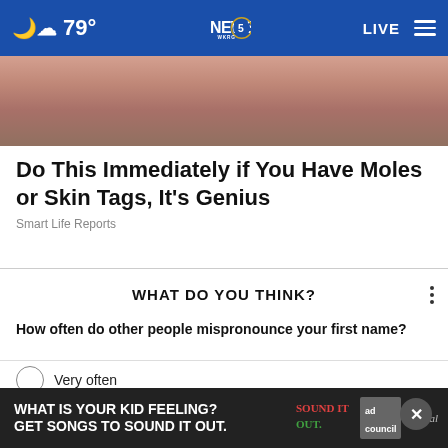79° NEWS 5 WKRG LIVE
[Figure (photo): Close-up photo of a person's hand holding a cosmetic tool near their skin, dark hair visible in background]
Do This Immediately if You Have Moles or Skin Tags, It's Genius
Smart Life Reports
WHAT DO YOU THINK?
How often do other people mispronounce your first name?
Very often
Somewhat often
[Figure (advertisement): WHAT IS YOUR KID FEELING? GET SONGS TO SOUND IT OUT. Ad Council / pivotal banner ad]